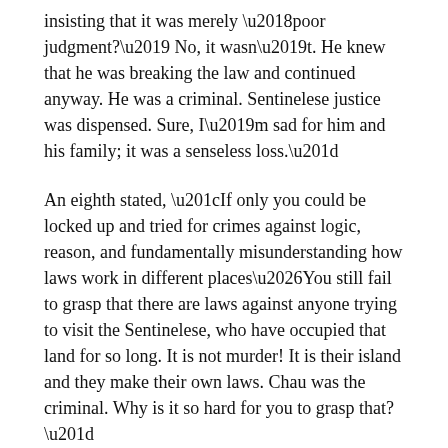insisting that it was merely ‘poor judgment?’ No, it wasn’t. He knew that he was breaking the law and continued anyway. He was a criminal. Sentinelese justice was dispensed. Sure, I’m sad for him and his family; it was a senseless loss.”
An eighth stated, “If only you could be locked up and tried for crimes against logic, reason, and fundamentally misunderstanding how laws work in different places…You still fail to grasp that there are laws against anyone trying to visit the Sentinelese, who have occupied that land for so long. It is not murder! It is their island and they make their own laws. Chau was the criminal. Why is it so hard for you to grasp that?”
Finally, one wrote “If people stopped trying to invade their home, they’d stop killing people.”